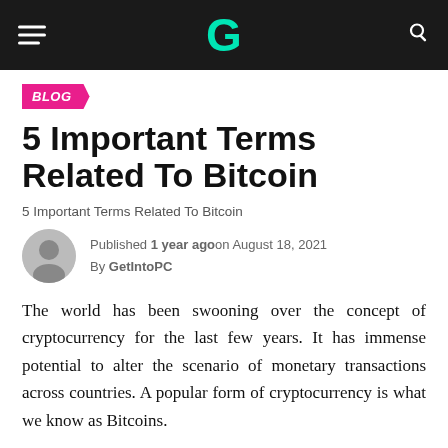G
BLOG
5 Important Terms Related To Bitcoin
5 Important Terms Related To Bitcoin
Published 1 year ago on August 18, 2021
By GetIntoPC
The world has been swooning over the concept of cryptocurrency for the last few years. It has immense potential to alter the scenario of monetary transactions across countries. A popular form of cryptocurrency is what we know as Bitcoins.